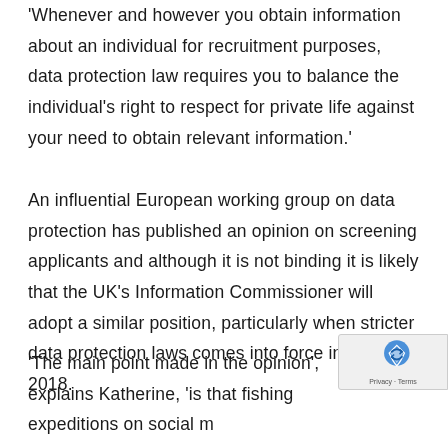'Whenever and however you obtain information about an individual for recruitment purposes, data protection law requires you to balance the individual's right to respect for private life against your need to obtain relevant information.'
An influential European working group on data protection has published an opinion on screening applicants and although it is not binding it is likely that the UK's Information Commissioner will adopt a similar position, particularly when stricter data protection laws comes into force in May 2018.
'The main point made in the opinion', explains Katherine, 'is that fishing expeditions on social m… are not permitted. Instead, a cautious approach… …